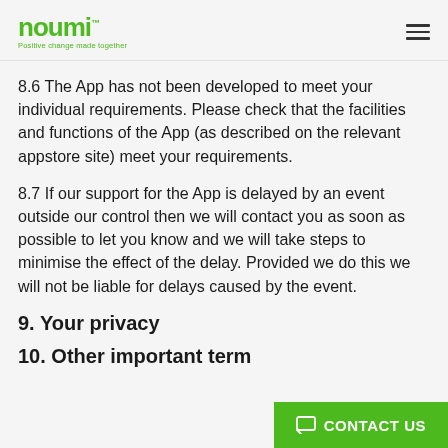noumi™ — Positive change made together
8.6 The App has not been developed to meet your individual requirements. Please check that the facilities and functions of the App (as described on the relevant appstore site) meet your requirements.
8.7 If our support for the App is delayed by an event outside our control then we will contact you as soon as possible to let you know and we will take steps to minimise the effect of the delay. Provided we do this we will not be liable for delays caused by the event.
9. Your privacy
10. Other important term